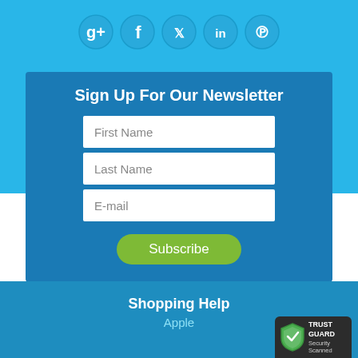[Figure (infographic): Social media icons: Google+, Facebook, Twitter, LinkedIn, Pinterest — circular blue buttons at the top]
Sign Up For Our Newsletter
First Name
Last Name
E-mail
Subscribe
Shopping Help
Apple
[Figure (logo): TrustGuard Security Scanned badge in bottom right corner]